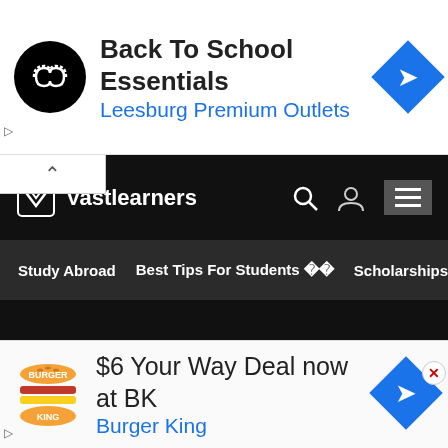[Figure (screenshot): Top advertisement banner for Leesburg Premium Outlets with black circular logo, title 'Back To School Essentials', subtitle 'Leesburg Premium Outlets' in blue, and a blue diamond-shaped arrow icon on the right.]
[Figure (screenshot): Vastlearners website navigation bar with logo, site name, search icon, user icon, menu icon, and navigation links: Study Abroad, Best Tips For Students, Scholarships, B...]
[Figure (screenshot): Bottom advertisement banner for Burger King with logo, title '$6 Your Way Deal now at BK', subtitle 'Burger King' in blue, blue diamond arrow icon with a red X close button.]